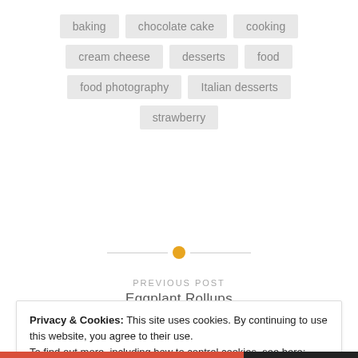baking
chocolate cake
cooking
cream cheese
desserts
food
food photography
Italian desserts
strawberry
PREVIOUS POST
Eggplant Rollups
Privacy & Cookies: This site uses cookies. By continuing to use this website, you agree to their use.
To find out more, including how to control cookies, see here: Cookie Policy
Close and accept